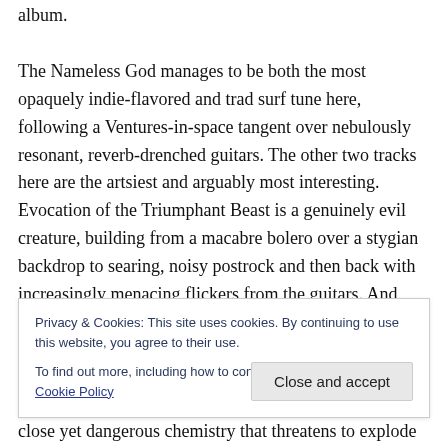album.
The Nameless God manages to be both the most opaquely indie-flavored and trad surf tune here, following a Ventures-in-space tangent over nebulously resonant, reverb-drenched guitars. The other two tracks here are the artsiest and arguably most interesting. Evocation of the Triumphant Beast is a genuinely evil creature, building from a macabre bolero over a stygian backdrop to searing, noisy postrock and then back with increasingly menacing flickers from the guitars. And Anima Mundi goes in the opposite direction, from an insistent danse macabre to a
Privacy & Cookies: This site uses cookies. By continuing to use this website, you agree to their use.
To find out more, including how to control cookies, see here: Cookie Policy
close yet dangerous chemistry that threatens to explode